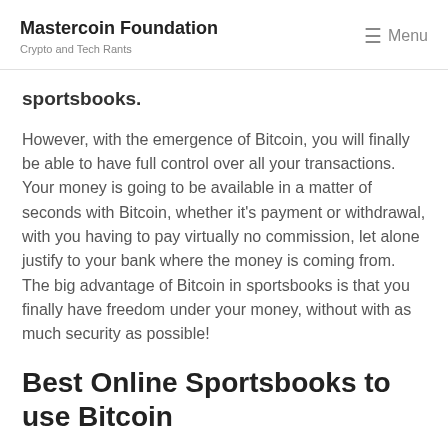Mastercoin Foundation
Crypto and Tech Rants
sportsbooks.
However, with the emergence of Bitcoin, you will finally be able to have full control over all your transactions. Your money is going to be available in a matter of seconds with Bitcoin, whether it's payment or withdrawal, with you having to pay virtually no commission, let alone justify to your bank where the money is coming from. The big advantage of Bitcoin in sportsbooks is that you finally have freedom under your money, without with as much security as possible!
Best Online Sportsbooks to use Bitcoin
Fortunately, and with the advancement of blockchain